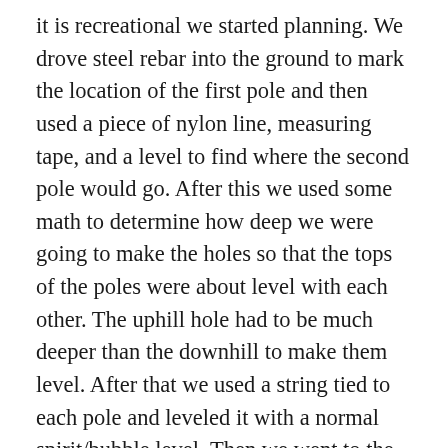it is recreational we started planning. We drove steel rebar into the ground to mark the location of the first pole and then used a piece of nylon line, measuring tape, and a level to find where the second pole would go. After this we used some math to determine how deep we were going to make the holes so that the tops of the poles were about level with each other. The uphill hole had to be much deeper than the downhill to make them level. After that we used a string tied to each pole and leveled it with a normal spirit/bubble level. Then we went to the midpoint of the two poles and determined how high the string was from the ground. Then using math we determined how much higher the net needed to be to keep it level even though the poles and ground were not (meaning: the average height of the net is standard, up hill is a little shorter, downhill a little